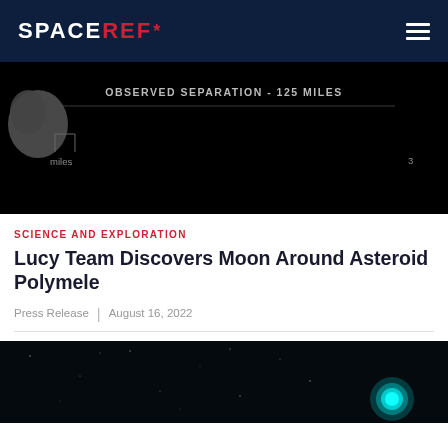SPACEREF*
[Figure (screenshot): Dark/black background image showing an asteroid with text 'OBSERVED SEPARATION - 125 MILES' and labels 'miles' and '3' visible]
SCIENCE AND EXPLORATION
Lucy Team Discovers Moon Around Asteroid Polymele
Press Release | August 16, 2022
[Figure (photo): Dark space image with a bright cyan/teal circular glowing object (asteroid or moon) visible in the lower right portion against a starfield background]